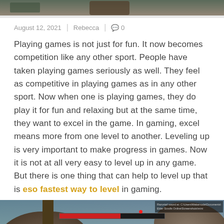[Figure (screenshot): Top portion of a game/outdoor screenshot cropped at top of page]
August 12, 2021  |  Rebecca  |  💬 0
Playing games is not just for fun. It now becomes competition like any other sport. People have taken playing games seriously as well. They feel as competitive in playing games as in any other sport. Now when one is playing games, they do play it for fun and relaxing but at the same time, they want to excel in the game. In gaming, excel means more from one level to another. Leveling up is very important to make progress in games. Now it is not at all very easy to level up in any game. But there is one thing that can help to level up that is eso fastest way to level in gaming.
[Figure (screenshot): Game screenshot showing a fantasy RPG scene with rocks, trees, character, and UI elements including health bar and minimap]